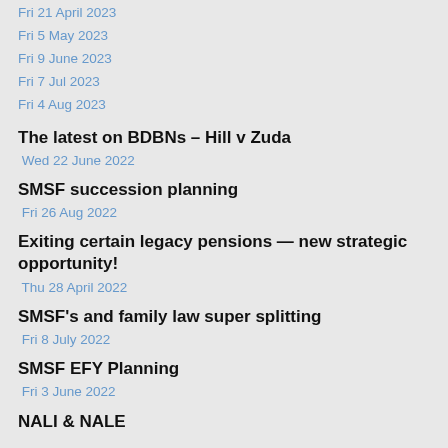Fri 21 April 2023
Fri 5 May 2023
Fri 9 June 2023
Fri 7 Jul 2023
Fri 4 Aug 2023
The latest on BDBNs – Hill v Zuda
Wed 22 June 2022
SMSF succession planning
Fri 26 Aug 2022
Exiting certain legacy pensions — new strategic opportunity!
Thu 28 April 2022
SMSF's and family law super splitting
Fri 8 July 2022
SMSF EFY Planning
Fri 3 June 2022
NALI & NALE